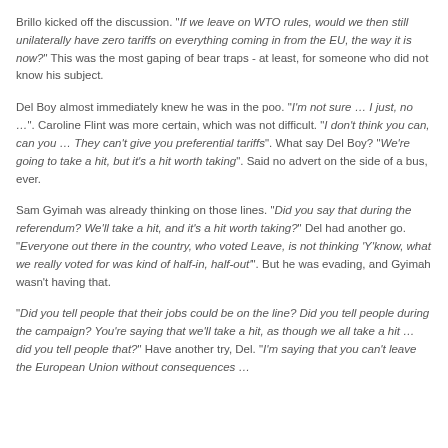Brillo kicked off the discussion. “If we leave on WTO rules, would we then still unilaterally have zero tariffs on everything coming in from the EU, the way it is now?” This was the most gaping of bear traps - at least, for someone who did not know his subject.
Del Boy almost immediately knew he was in the poo. “I’m not sure … I just, no …”. Caroline Flint was more certain, which was not difficult. “I don’t think you can, can you … They can’t give you preferential tariffs”. What say Del Boy? “We’re going to take a hit, but it’s a hit worth taking”. Said no advert on the side of a bus, ever.
Sam Gyimah was already thinking on those lines. “Did you say that during the referendum? We’ll take a hit, and it’s a hit worth taking?” Del had another go. “Everyone out there in the country, who voted Leave, is not thinking ‘Y’know, what we really voted for was kind of half-in, half-out’”. But he was evading, and Gyimah wasn’t having that.
“Did you tell people that their jobs could be on the line? Did you tell people during the campaign? You’re saying that we’ll take a hit, as though we all take a hit … did you tell people that?” Have another try, Del. “I’m saying that you can’t leave the European Union without consequences …